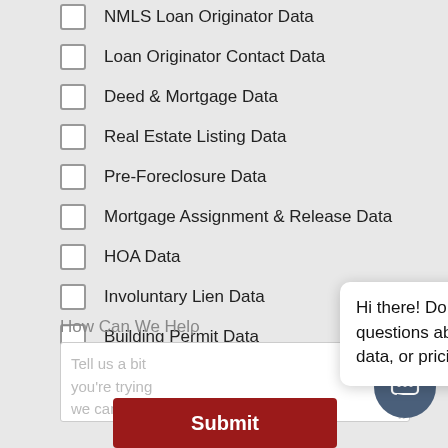NMLS Loan Originator Data
Loan Originator Contact Data
Deed & Mortgage Data
Real Estate Listing Data
Pre-Foreclosure Data
Mortgage Assignment & Release Data
HOA Data
Involuntary Lien Data
Building Permit Data
Probate, Pre-[truncated]
How Can We Help
Tell us a bit [about what] you're trying [to accomplish so] we can better accommodate
[Figure (screenshot): Chat popup with three avatars and message: Hi there! Do you have any questions about our products, data, or pricing?]
Submit